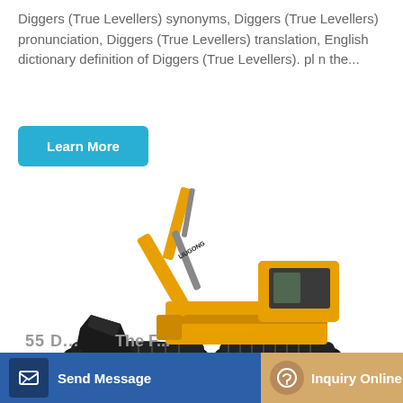Diggers (True Levellers) synonyms, Diggers (True Levellers) pronunciation, Diggers (True Levellers) translation, English dictionary definition of Diggers (True Levellers). pl n the...
[Figure (other): A yellow LiuGong excavator/digger on a white background, shown in side view with boom arm extended and bucket lowered]
Learn More
Send Message
Inquiry Online